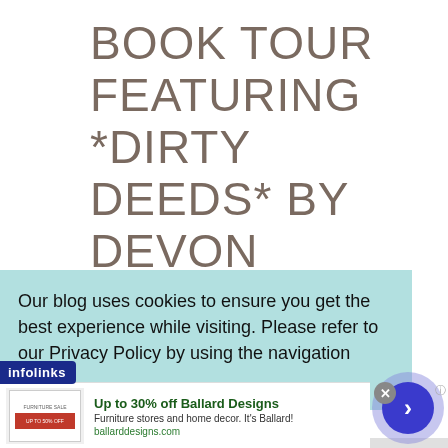BOOK TOUR FEATURING *DIRTY DEEDS* BY DEVON MONK, DIANA PHARAOH FRANCIS, FAITH HUNTER, P.J.
Our blog uses cookies to ensure you get the best experience while visiting. Please refer to our Privacy Policy by using the navigation above
[Figure (screenshot): Advertisement for Ballard Designs: 'Up to 30% off Ballard Designs' with thumbnail image showing sale coupon and furniture store description. URL: ballarddesigns.com. Infolinks badge and navigation arrow button visible.]